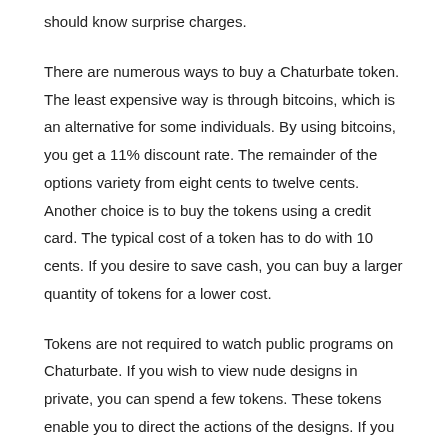should know surprise charges.
There are numerous ways to buy a Chaturbate token. The least expensive way is through bitcoins, which is an alternative for some individuals. By using bitcoins, you get a 11% discount rate. The remainder of the options variety from eight cents to twelve cents. Another choice is to buy the tokens using a credit card. The typical cost of a token has to do with 10 cents. If you desire to save cash, you can buy a larger quantity of tokens for a lower cost.
Tokens are not required to watch public programs on Chaturbate. If you wish to view nude designs in private, you can spend a few tokens. These tokens enable you to direct the actions of the designs. If you buy a Chaturbate token, you can generate income by promoting the models. You can earn money by promoting the model you like. When you have enough pointers, you can even begin a service by using Chaturbate to sell or promote your services.